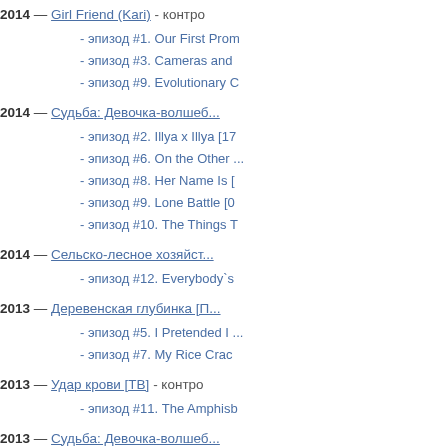2014 — Girl Friend (Kari) - контро...
- эпизод #1. Our First Prom...
- эпизод #3. Cameras and...
- эпизод #9. Evolutionary C...
2014 — Судьба: Девочка-волшеб...
- эпизод #2. Illya x Illya [17...
- эпизод #6. On the Other...
- эпизод #8. Her Name Is [...
- эпизод #9. Lone Battle [0...
- эпизод #10. The Things T...
2014 — Сельско-лесное хозяйст...
- эпизод #12. Everybody`s...
2013 — Деревенская глубинка [П...
- эпизод #5. I Pretended I ...
- эпизод #7. My Rice Crac...
2013 — Удар крови [ТВ] - контро...
- эпизод #11. The Amphisb...
2013 — Судьба: Девочка-волшеб...
- эпизод #1. Birth! A Magic...
- эпизод #4. We Lost [27.0...
- эпизод #6. A Blank, and t...
- эпизод #9. I`ll End It Here...
- эпизод #10. Kaleidoscope...
2013 — Фотографируя девушек -...